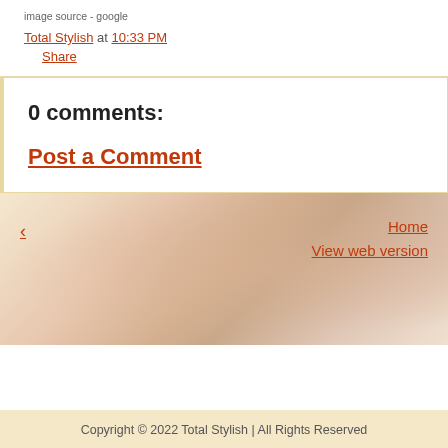image source - google
Total Stylish at 10:33 PM
Share
0 comments:
Post a Comment
‹
Home
View web version
Copyright © 2022 Total Stylish | All Rights Reserved